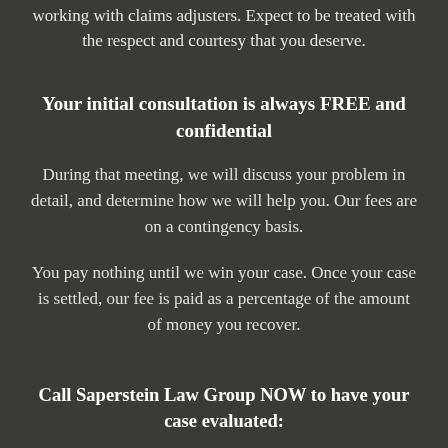working with claims adjusters. Expect to be treated with the respect and courtesy that you deserve.
Your initial consultation is always FREE and confidential
During that meeting, we will discuss your problem in detail, and determine how we will help you. Our fees are on a contingency basis.
You pay nothing until we win your case. Once your case is settled, our fee is paid as a percentage of the amount of money you recover.
Call Saperstein Law Group NOW to have your case evaluated: